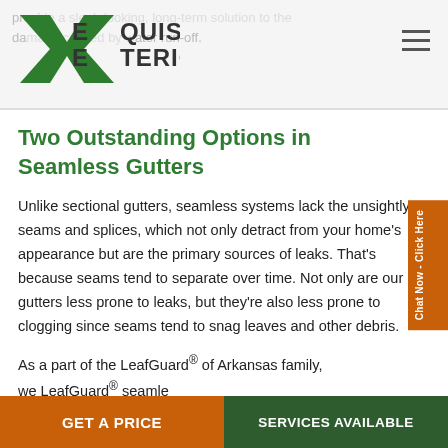provide a sleek-looking, long-term solution to the damage caused by water run-off.
[Figure (logo): Exquisite Exteriors logo with large X in dark green, text EXQUISITE EXTERIORS in dark grey/green]
Two Outstanding Options in Seamless Gutters
Unlike sectional gutters, seamless systems lack the unsightly seams and splices, which not only detract from your home’s appearance but are the primary sources of leaks. That’s because seams tend to separate over time. Not only are our gutters less prone to leaks, but they’re also less prone to clogging since seams tend to snag leaves and other debris.
As a part of the LeafGuard® of Arkansas family, we [offer LeafGuard® seamle...]
GET A PRICE | SERVICES AVAILABLE